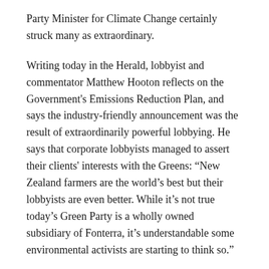Party Minister for Climate Change certainly struck many as extraordinary.
Writing today in the Herald, lobbyist and commentator Matthew Hooton reflects on the Government's Emissions Reduction Plan, and says the industry-friendly announcement was the result of extraordinarily powerful lobbying. He says that corporate lobbyists managed to assert their clients' interests with the Greens: “New Zealand farmers are the world’s best but their lobbyists are even better. While it’s not true today’s Green Party is a wholly owned subsidiary of Fonterra, it’s understandable some environmental activists are starting to think so.”
Hooton points out that business and dairy lobbyists, including Business NZ, Dairy NZ, and Federated